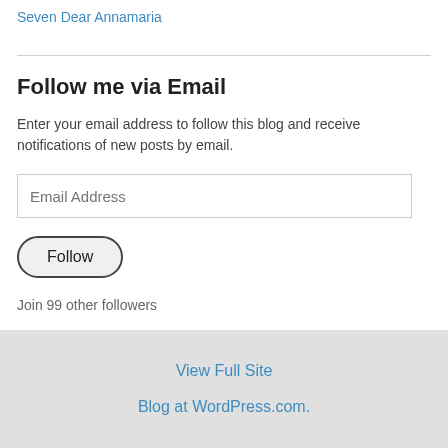Seven
Dear Annamaria
Follow me via Email
Enter your email address to follow this blog and receive notifications of new posts by email.
Join 99 other followers
View Full Site
Blog at WordPress.com.